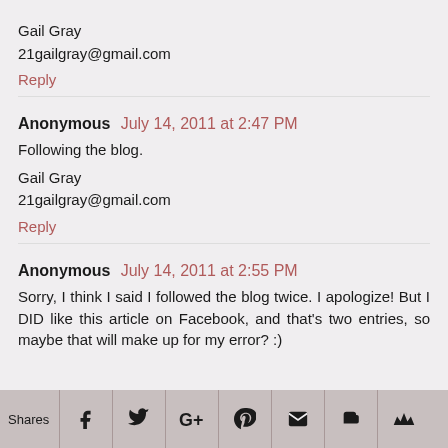Gail Gray
21gailgray@gmail.com
Reply
Anonymous July 14, 2011 at 2:47 PM
Following the blog.

Gail Gray
21gailgray@gmail.com
Reply
Anonymous July 14, 2011 at 2:55 PM
Sorry, I think I said I followed the blog twice. I apologize! But I DID like this article on Facebook, and that's two entries, so maybe that will make up for my error? :)
Shares [Facebook] [Twitter] [Google+] [Pinterest] [Email] [Blogger] [Bloglovin]